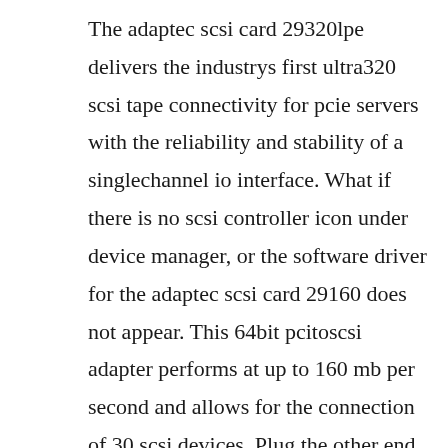The adaptec scsi card 29320lpe delivers the industrys first ultra320 scsi tape connectivity for pcie servers with the reliability and stability of a singlechannel io interface. What if there is no scsi controller icon under device manager, or the software driver for the adaptec scsi card 29160 does not appear. This 64bit pcitoscsi adapter performs at up to 160 mb per second and allows for the connection of 30 scsi devices. Plug the other end of the cable to a terminated ultrafast narrow scsi device. Refer to fqa before you buy q6 what type of scsi board can i use.